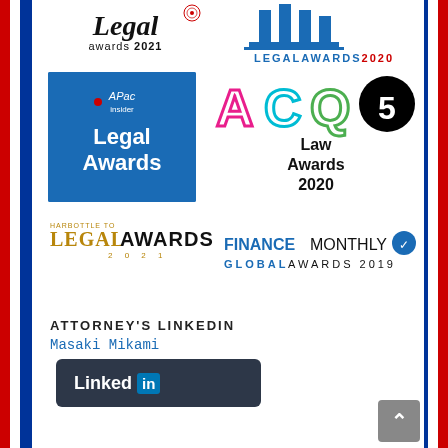[Figure (logo): Legal Awards 2021 logo with italic serif 'Legal awards 2021' text and red dot decoration]
[Figure (logo): Legal Awards 2020 logo with blue columns/pillars icon and 'LEGALAWARDS2020' text]
[Figure (logo): APAC Insider Legal Awards blue square logo]
[Figure (logo): ACQ5 Law Awards 2020 logo with colorful ACQ letters and black circle with 5]
[Figure (logo): Harbottle Legal Awards 2021 logo in gold/yellow text]
[Figure (logo): Finance Monthly Global Awards 2019 logo]
ATTORNEY'S LINKEDIN
Masaki Mikami
[Figure (logo): LinkedIn button/logo in dark background]